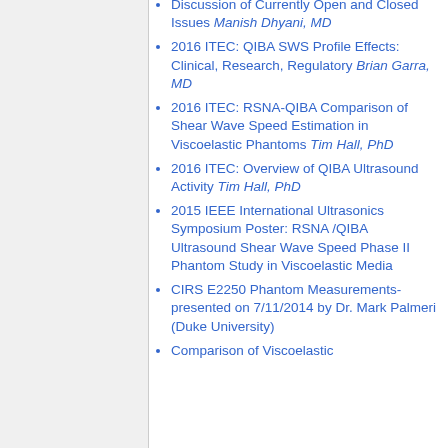Discussion of Currently Open and Closed Issues Manish Dhyani, MD
2016 ITEC: QIBA SWS Profile Effects: Clinical, Research, Regulatory Brian Garra, MD
2016 ITEC: RSNA-QIBA Comparison of Shear Wave Speed Estimation in Viscoelastic Phantoms Tim Hall, PhD
2016 ITEC: Overview of QIBA Ultrasound Activity Tim Hall, PhD
2015 IEEE International Ultrasonics Symposium Poster: RSNA /QIBA Ultrasound Shear Wave Speed Phase II Phantom Study in Viscoelastic Media
CIRS E2250 Phantom Measurements- presented on 7/11/2014 by Dr. Mark Palmeri (Duke University)
Comparison of Viscoelastic